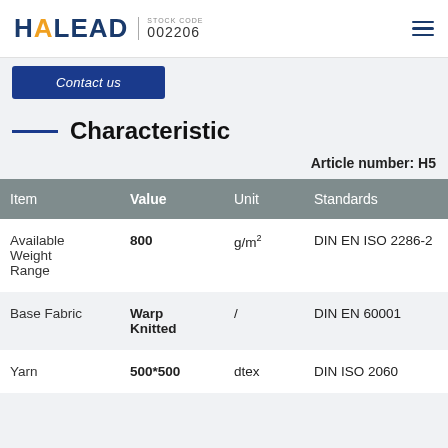HALEAD | STOCK CODE 002206
[Figure (logo): HALEAD logo with orange accent on A, stock code 002206, and hamburger menu icon]
Contact us
Characteristic
Article number: H5
| Item | Value | Unit | Standards |
| --- | --- | --- | --- |
| Available Weight Range | 800 | g/m² | DIN EN ISO 2286-2 |
| Base Fabric | Warp Knitted | / | DIN EN 60001 |
| Yarn | 500*500 | dtex | DIN ISO 2060 |